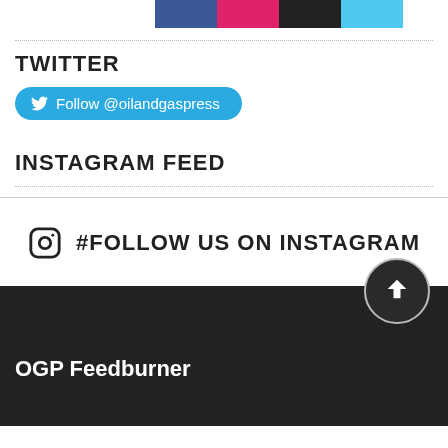[Figure (other): Row of four colored social media icon boxes: Facebook (blue), Pinterest (pink/red), Twitter (black), Twitter (light blue)]
TWITTER
Follow @oilandgaspress
INSTAGRAM FEED
#FOLLOW US ON INSTAGRAM
OGP Feedburner